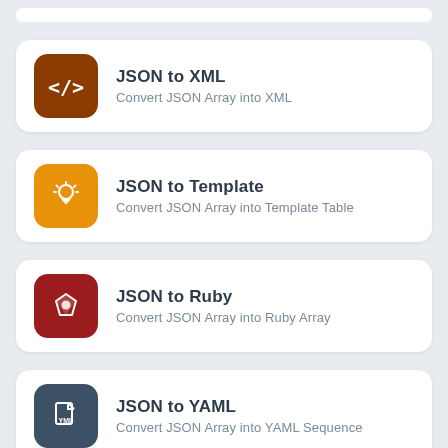[Figure (screenshot): Partial top card cut off at top of page]
JSON to XML — Convert JSON Array into XML
JSON to Template — Convert JSON Array into Template Table
JSON to Ruby — Convert JSON Array into Ruby Array
JSON to YAML — Convert JSON Array into YAML Sequence